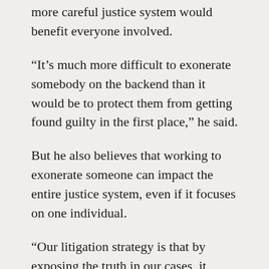more careful justice system would benefit everyone involved.
“It’s much more difficult to exonerate somebody on the backend than it would be to protect them from getting found guilty in the first place,” he said.
But he also believes that working to exonerate someone can impact the entire justice system, even if it focuses on one individual.
“Our litigation strategy is that by exposing the truth in our cases, it allows for the public, the judges, the defense attorneys and those innocent people in prison to